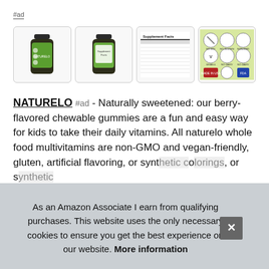#ad
[Figure (photo): Four product images of NATURELO children's gummy vitamins: front bottle, back label, supplement facts panel, and certification icons]
NATURELO #ad - Naturally sweetened: our berry-flavored chewable gummies are a fun and easy way for kids to take their daily vitamins. All naturelo whole food multivitamins are non-GMO and vegan-friendly, gluten, artificial flavoring, or synth... or s...
Unli... with...
sweeteners. Daily essentials for kids: packed with 23 essential
As an Amazon Associate I earn from qualifying purchases. This website uses the only necessary cookies to ensure you get the best experience on our website. More information